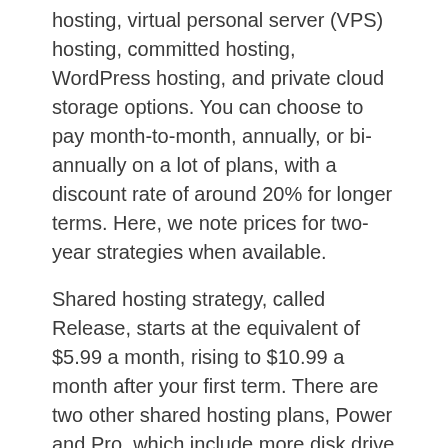hosting, virtual personal server (VPS) hosting, committed hosting, WordPress hosting, and private cloud storage options. You can choose to pay month-to-month, annually, or bi-annually on a lot of plans, with a discount rate of around 20% for longer terms. Here, we note prices for two-year strategies when available.
Shared hosting strategy, called Release, starts at the equivalent of $5.99 a month, rising to $10.99 a month after your first term. There are two other shared hosting plans, Power and Pro, which include more disk drive area and enhanced performance.
InMotion Hosting has 4 plans for WordPress sites.